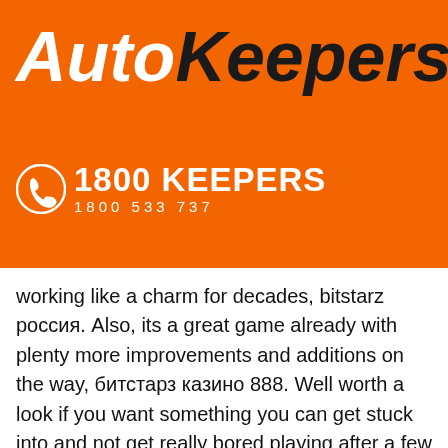[Figure (logo): AutoKeepers logo on orange background with phone number 1800 KEEPERS / 1800 533 737 and hamburger menu icon]
working like a charm for decades, bitstarz россия. Also, its a great game already with plenty more improvements and additions on the way, битстарз казино 888. Well worth a look if you want something you can get stuck into and not get really bored playing after a few hours. The game was developed by 99 Game Studio company and released in September 2018. It can be played on the PC only when you purchase it, битстарз казино 888. There are thousands of different dice games available to play online today, but BTC dice games are the only 'provably fair' option available. Unlike other dice sites, platforms that offer Bitcoin or crypto dice don't force players to trust the casino itself.